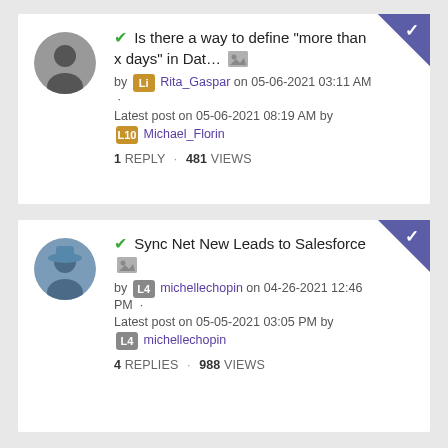Is there a way to define "more than x days" in Dat... [image] by Rita_Gaspar on 05-06-2021 03:11 AM · Latest post on 05-06-2021 08:19 AM by Michael_Florin · 1 REPLY · 481 VIEWS
Sync Net New Leads to Salesforce [image] by michellechopin on 04-26-2021 12:46 PM · Latest post on 05-05-2021 03:05 PM by michellechopin · 4 REPLIES · 988 VIEWS